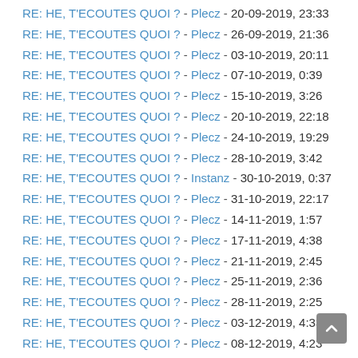RE: HE, T'ECOUTES QUOI ? - Plecz - 20-09-2019, 23:33
RE: HE, T'ECOUTES QUOI ? - Plecz - 26-09-2019, 21:36
RE: HE, T'ECOUTES QUOI ? - Plecz - 03-10-2019, 20:11
RE: HE, T'ECOUTES QUOI ? - Plecz - 07-10-2019, 0:39
RE: HE, T'ECOUTES QUOI ? - Plecz - 15-10-2019, 3:26
RE: HE, T'ECOUTES QUOI ? - Plecz - 20-10-2019, 22:18
RE: HE, T'ECOUTES QUOI ? - Plecz - 24-10-2019, 19:29
RE: HE, T'ECOUTES QUOI ? - Plecz - 28-10-2019, 3:42
RE: HE, T'ECOUTES QUOI ? - Instanz - 30-10-2019, 0:37
RE: HE, T'ECOUTES QUOI ? - Plecz - 31-10-2019, 22:17
RE: HE, T'ECOUTES QUOI ? - Plecz - 14-11-2019, 1:57
RE: HE, T'ECOUTES QUOI ? - Plecz - 17-11-2019, 4:38
RE: HE, T'ECOUTES QUOI ? - Plecz - 21-11-2019, 2:45
RE: HE, T'ECOUTES QUOI ? - Plecz - 25-11-2019, 2:36
RE: HE, T'ECOUTES QUOI ? - Plecz - 28-11-2019, 2:25
RE: HE, T'ECOUTES QUOI ? - Plecz - 03-12-2019, 4:33
RE: HE, T'ECOUTES QUOI ? - Plecz - 08-12-2019, 4:23
RE: HE, T'ECOUTES QUOI ? - Plecz - 08-12-2019, 20:27
RE: HE, T'ECOUTES QUOI ? - Plecz - 11-12-2019, 21:07
RE: HE, T'ECOUTES QUOI ? - Plecz - 16-12-2019, 4:12
RE: HE, T'ECOUTES QUOI ? - Plecz - 20-12-2019, 3:53
RE: HE, T'ECOUTES QUOI ? - Plecz - 22-12-2019, 4:02